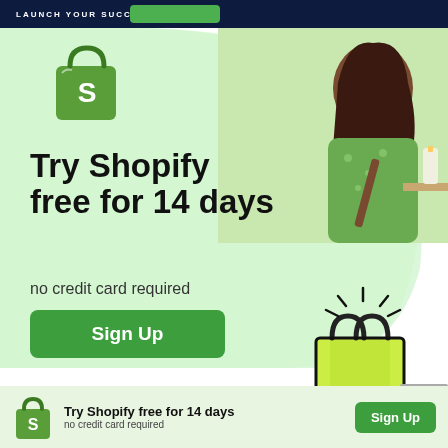LAUNCH YOUR SUCCESS
[Figure (illustration): Shopify green shopping bag logo with 'S' on it]
[Figure (photo): Person in green floral outfit making candles, upper right corner]
Try Shopify free for 14 days
no credit card required
[Figure (illustration): Green 'Sign Up' button]
[Figure (illustration): Illustrated yellow-green shopping bag with shine lines, cartoon style]
Now, all you need to do is add the products you
[Figure (logo): Shopify logo small bag with S]
Try Shopify free for 14 days
no credit card required
[Figure (illustration): Green Sign Up button in sticky footer bar]